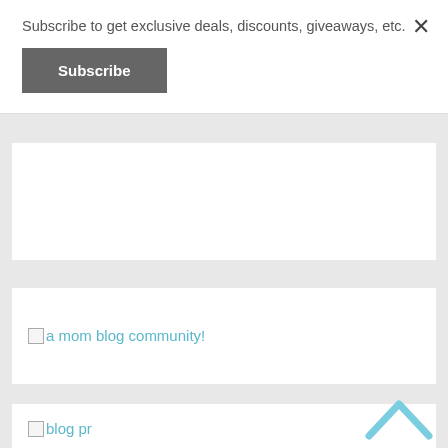Subscribe to get exclusive deals, discounts, giveaways, etc.
× (close button)
Subscribe
[Figure (screenshot): White card area (empty)]
[Figure (screenshot): White card with broken image link 'a mom blog community!']
[Figure (screenshot): White card with broken image link 'blog pr' and an up-chevron arrow]